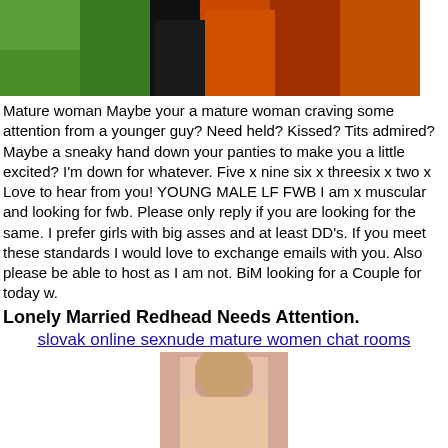[Figure (photo): Colorful photo showing green and orange background with figures]
Mature woman Maybe your a mature woman craving some attention from a younger guy? Need held? Kissed? Tits admired? Maybe a sneaky hand down your panties to make you a little excited? I'm down for whatever. Five x nine six x threesix x two x Love to hear from you! YOUNG MALE LF FWB I am x muscular and looking for fwb. Please only reply if you are looking for the same. I prefer girls with big asses and at least DD's. If you meet these standards I would love to exchange emails with you. Also please be able to host as I am not. BiM looking for a Couple for today w.
Lonely Married Redhead Needs Attention.
slovak online sexnude mature women chat rooms
[Figure (photo): Two photos of women stacked vertically]